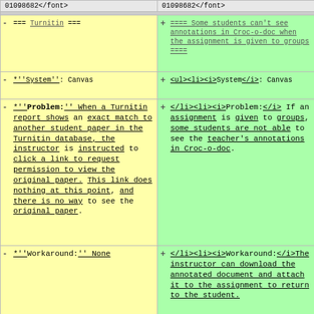| Left (old) | Right (new) |
| --- | --- |
| 01098682</font> | 01098682</font> |
| - === Turnitin === | + ==== Some students can't see annotations in Croc-o-doc when the assignment is given to groups ==== |
| - *''System'': Canvas | + <ul><li><i>System</i>: Canvas |
| - *''Problem:'' When a Turnitin report shows an exact match to another student paper in the Turnitin database, the instructor is instructed to click a link to request permission to view the original paper. This link does nothing at this point, and there is no way to see the original paper. | + </li><li><i>Problem:</i> If an assignment is given to groups, some students are not able to see the teacher's annotations in Croc-o-doc. |
| - *''Workaround:'' None | + </li><li><i>Workaround:</i> The instructor can download the annotated document and attach it to the assignment to return to the student. |
| - *''Status:'' Under investigation by Canvas Engineers. Canvas Engineers report back this this issue cannot be resolved. | + </li><li><i>Status:</i> |https://lss.at.ufl.edu/help/Canvas_Updates#Crocodoc_Annotations_and_Group_Assignments | Resolved by Update 04/23/2016] |